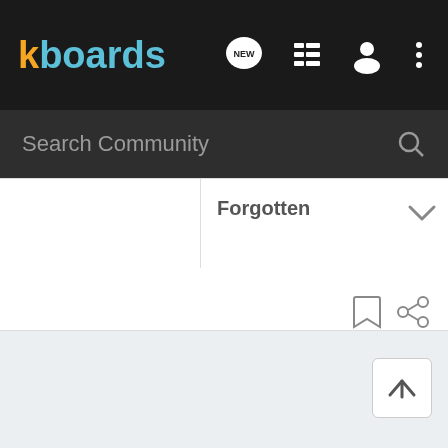[Figure (screenshot): kboards logo in the navigation bar — 'k' in orange, 'boards' in teal/blue]
[Figure (screenshot): Navigation bar icons: NEW speech bubble, list/menu icon, user/person icon, vertical ellipsis (more) icon]
Search Community
Forgotten
[Figure (screenshot): Chevron/arrow down icon on the right side of the row]
[Figure (screenshot): Bookmark icon and share icon at bottom right of content area]
[Figure (screenshot): Back to top arrow button in the bottom-right of the gray footer area]